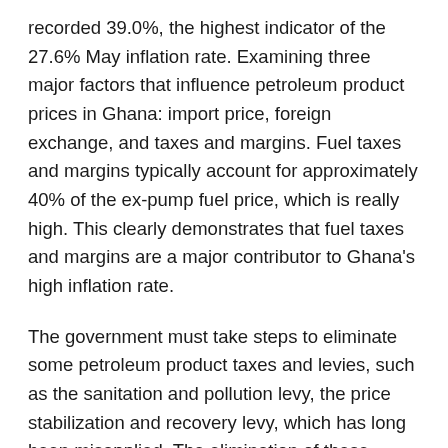recorded 39.0%, the highest indicator of the 27.6% May inflation rate. Examining three major factors that influence petroleum product prices in Ghana: import price, foreign exchange, and taxes and margins. Fuel taxes and margins typically account for approximately 40% of the ex-pump fuel price, which is really high. This clearly demonstrates that fuel taxes and margins are a major contributor to Ghana's high inflation rate.
The government must take steps to eliminate some petroleum product taxes and levies, such as the sanitation and pollution levy, the price stabilization and recovery levy, which has long been misapplied. The elimination of these petroleum taxes will help to stabilize the market's frequent increases in fuel prices, as the National Petroleum Authority and Bulk Oil Distributors